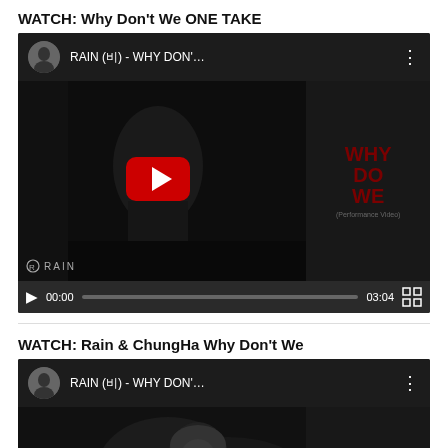WATCH: Why Don't We ONE TAKE
[Figure (screenshot): Embedded YouTube video player showing RAIN (비) - WHY DON'... performance video with play button overlay, watermark 'RAIN', duration 03:04, progress bar at 00:00]
WATCH: Rain & ChungHa Why Don't We
[Figure (screenshot): Embedded YouTube video player showing RAIN (비) - WHY DON'... with a person visible in the thumbnail, partially cropped]